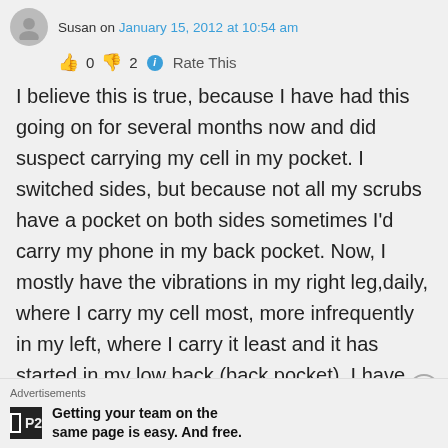Susan on January 15, 2012 at 10:54 am
👍 0 👎 2 ℹ Rate This
I believe this is true, because I have had this going on for several months now and did suspect carrying my cell in my pocket. I switched sides, but because not all my scrubs have a pocket on both sides sometimes I'd carry my phone in my back pocket. Now, I mostly have the vibrations in my right leg,daily, where I carry my cell most, more infrequently in my left, where I carry it least and it has started in my low back (back pocket). I have other
Advertisements
Getting your team on the same page is easy. And free.